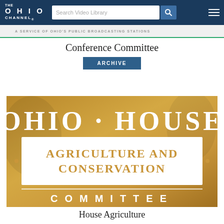[Figure (logo): The Ohio Channel logo — white text on navy background]
Search Video Library
A SERVICE OF OHIO'S PUBLIC BROADCASTING STATIONS
Conference Committee
ARCHIVE
[Figure (logo): Ohio House Agriculture and Conservation Committee gold/white logo image]
House Agriculture